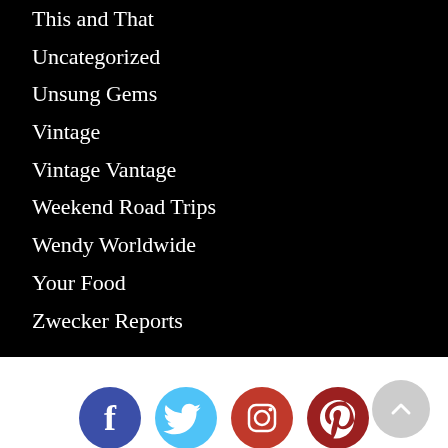This and That
Uncategorized
Unsung Gems
Vintage
Vintage Vantage
Weekend Road Trips
Wendy Worldwide
Your Food
Zwecker Reports
[Figure (infographic): Social media icons row: Facebook (dark blue circle), Twitter (sky blue circle), Instagram (red circle), Pinterest (dark red circle)]
COPYRIGHT © Classic Chicago Magazine.
All rights reserved.